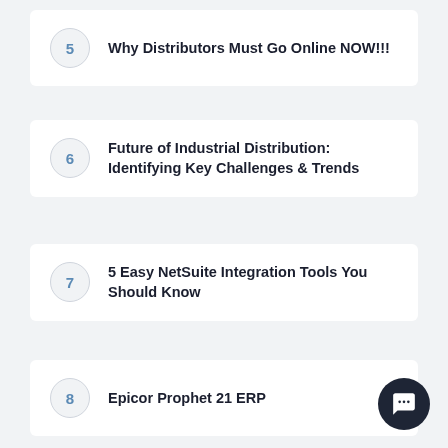5 Why Distributors Must Go Online NOW!!!
6 Future of Industrial Distribution: Identifying Key Challenges & Trends
7 5 Easy NetSuite Integration Tools You Should Know
8 Epicor Prophet 21 ERP